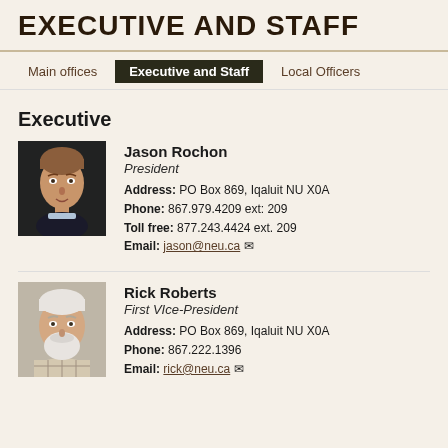EXECUTIVE AND STAFF
Main offices  |  Executive and Staff  |  Local Officers
Executive
[Figure (photo): Headshot photo of Jason Rochon, a middle-aged man with short hair against a dark background]
Jason Rochon
President
Address: PO Box 869, Iqaluit NU X0A
Phone: 867.979.4209 ext: 209
Toll free: 877.243.4424 ext. 209
Email: jason@neu.ca
[Figure (photo): Headshot photo of Rick Roberts, an older man with white hair and beard]
Rick Roberts
First Vice-President
Address: PO Box 869, Iqaluit NU X0A
Phone: 867.222.1396
Email: rick@neu.ca